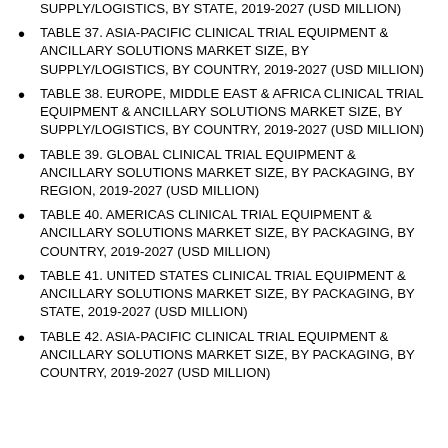SUPPLY/LOGISTICS, BY STATE, 2019-2027 (USD MILLION)
TABLE 37. ASIA-PACIFIC CLINICAL TRIAL EQUIPMENT & ANCILLARY SOLUTIONS MARKET SIZE, BY SUPPLY/LOGISTICS, BY COUNTRY, 2019-2027 (USD MILLION)
TABLE 38. EUROPE, MIDDLE EAST & AFRICA CLINICAL TRIAL EQUIPMENT & ANCILLARY SOLUTIONS MARKET SIZE, BY SUPPLY/LOGISTICS, BY COUNTRY, 2019-2027 (USD MILLION)
TABLE 39. GLOBAL CLINICAL TRIAL EQUIPMENT & ANCILLARY SOLUTIONS MARKET SIZE, BY PACKAGING, BY REGION, 2019-2027 (USD MILLION)
TABLE 40. AMERICAS CLINICAL TRIAL EQUIPMENT & ANCILLARY SOLUTIONS MARKET SIZE, BY PACKAGING, BY COUNTRY, 2019-2027 (USD MILLION)
TABLE 41. UNITED STATES CLINICAL TRIAL EQUIPMENT & ANCILLARY SOLUTIONS MARKET SIZE, BY PACKAGING, BY STATE, 2019-2027 (USD MILLION)
TABLE 42. ASIA-PACIFIC CLINICAL TRIAL EQUIPMENT & ANCILLARY SOLUTIONS MARKET SIZE, BY PACKAGING, BY COUNTRY, 2019-2027 (USD MILLION)